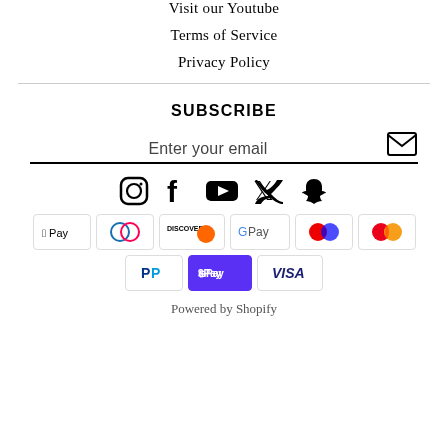Visit our Youtube
Terms of Service
Privacy Policy
SUBSCRIBE
Enter your email
[Figure (infographic): Social media icons: Instagram, Facebook, YouTube, Twitter, Snapchat]
[Figure (infographic): Payment method badges: Apple Pay, Diners Club, Discover, Google Pay, Maestro, Mastercard, PayPal, Shop Pay, Visa]
Powered by Shopify